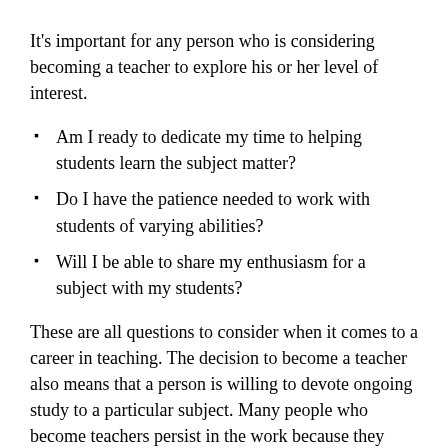It's important for any person who is considering becoming a teacher to explore his or her level of interest.
Am I ready to dedicate my time to helping students learn the subject matter?
Do I have the patience needed to work with students of varying abilities?
Will I be able to share my enthusiasm for a subject with my students?
These are all questions to consider when it comes to a career in teaching. The decision to become a teacher also means that a person is willing to devote ongoing study to a particular subject. Many people who become teachers persist in the work because they enjoy the experience of seeing a student begin to grasp a concept. A dedicated teacher has the honor of contributing to the early education of individuals who could go on to accomplish